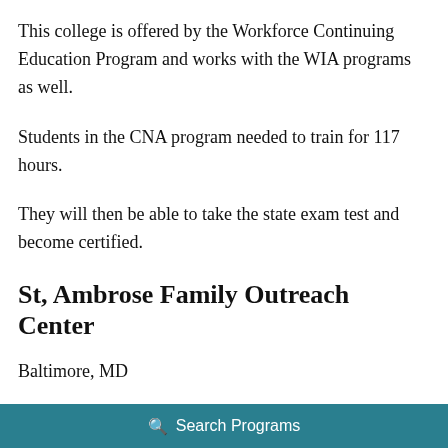This college is offered by the Workforce Continuing Education Program and works with the WIA programs as well.
Students in the CNA program needed to train for 117 hours.
They will then be able to take the state exam test and become certified.
St, Ambrose Family Outreach Center
Baltimore, MD
This outreach center runs a CNA program.
Search Programs